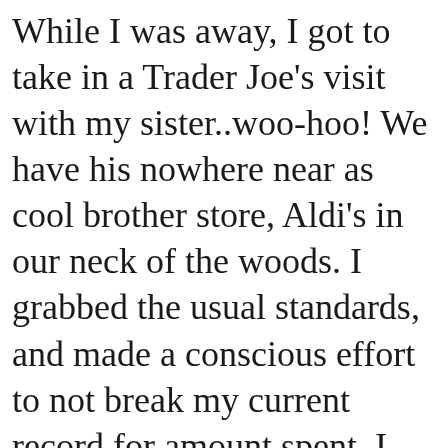While I was away, I got to take in a Trader Joe's visit with my sister..woo-hoo! We have his nowhere near as cool brother store, Aldi's in our neck of the woods. I grabbed the usual standards, and made a conscious effort to not break my current record for amount spent. I was much less stressed knowing I can return next month. Since I wasn't going hog wild, I decided to try a few new odds and ends. I got two